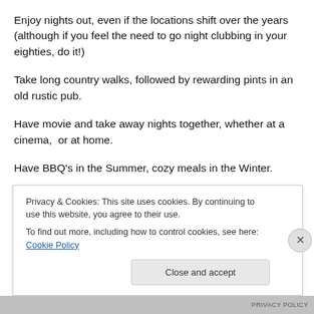Enjoy nights out, even if the locations shift over the years (although if you feel the need to go night clubbing in your eighties, do it!)
Take long country walks, followed by rewarding pints in an old rustic pub.
Have movie and take away nights together, whether at a cinema,  or at home.
Have BBQ's in the Summer, cozy meals in the Winter.
Privacy & Cookies: This site uses cookies. By continuing to use this website, you agree to their use.
To find out more, including how to control cookies, see here: Cookie Policy
Close and accept